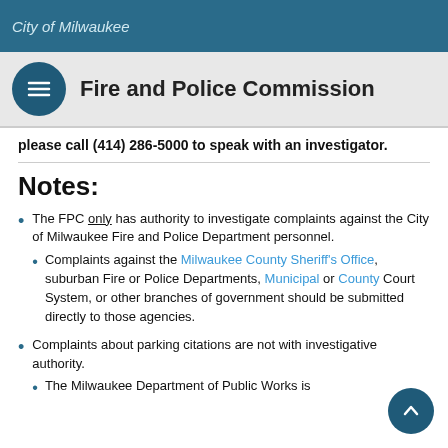City of Milwaukee
Fire and Police Commission
please call (414) 286-5000 to speak with an investigator.
Notes:
The FPC only has authority to investigate complaints against the City of Milwaukee Fire and Police Department personnel.
Complaints against the Milwaukee County Sheriff's Office, suburban Fire or Police Departments, Municipal or County Court System, or other branches of government should be submitted directly to those agencies.
Complaints about parking citations are not within investigative authority.
The Milwaukee Department of Public Works is